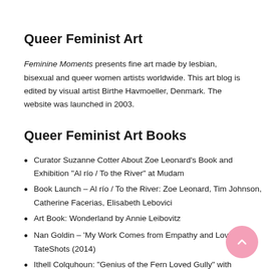Queer Feminist Art
Feminine Moments presents fine art made by lesbian, bisexual and queer women artists worldwide. This art blog is edited by visual artist Birthe Havmoeller, Denmark. The website was launched in 2003.
Queer Feminist Art Books
Curator Suzanne Cotter About Zoe Leonard’s Book and Exhibition “Al río / To the River” at Mudam
Book Launch – Al río / To the River: Zoe Leonard, Tim Johnson, Catherine Facerias, Elisabeth Lebovici
Art Book: Wonderland by Annie Leibovitz
Nan Goldin – ‘My Work Comes from Empathy and Love’ | TateShots (2014)
Ithell Colquhoun: “Genius of the Fern Loved Gully” with